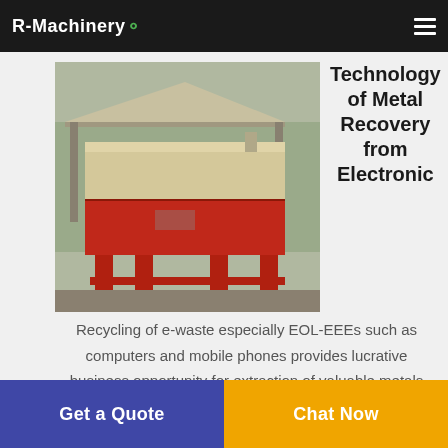R-Machinery
[Figure (photo): Industrial metal shredder/crusher machine painted red and beige, on a red metal frame, outdoors at a facility]
Technology of Metal Recovery from Electronic
Recycling of e-waste especially EOL-EEEs such as computers and mobile phones provides lucrative business opportunity for extraction of valuable metals such as gold silver copper lead etc. Currently e-waste recycling in India especially processing to a large extent almost 95 remains confined to the unorganized sector which due to